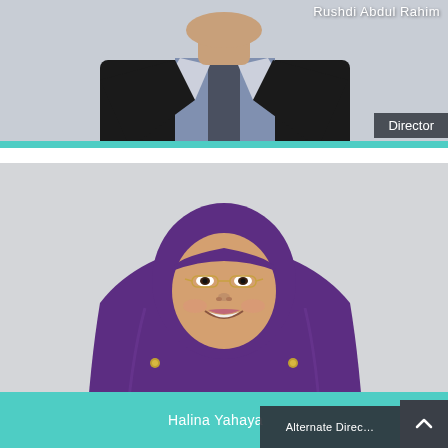[Figure (photo): Partial photo of Rushdi Abdul Rahim in a dark suit, visible from shoulders down, with teal bar at bottom]
Rushdi Abdul Rahim
Director
[Figure (photo): Portrait photo of Halina Yahaya wearing a purple hijab and glasses, smiling, with floral blouse]
Halina Yahaya
Alternate Director